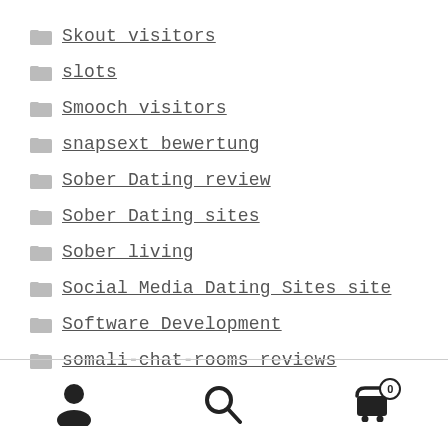Skout visitors
slots
Smooch visitors
snapsext bewertung
Sober Dating review
Sober Dating sites
Sober living
Social Media Dating Sites site
Software Development
somali-chat-rooms reviews
[user icon] [search icon] [cart icon with 0]